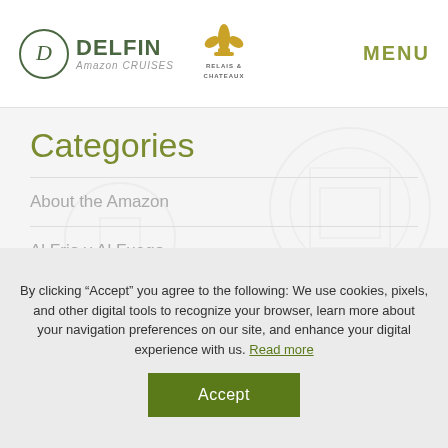DELFIN Amazon Cruises | RELAIS & CHATEAUX | MENU
Categories
About the Amazon
Al Frio y Al Fuego
Amazon Communities
Amazon Cruise Deals
Amazon Flora
Amazon Wildlife Peru
By clicking “Accept” you agree to the following: We use cookies, pixels, and other digital tools to recognize your browser, learn more about your navigation preferences on our site, and enhance your digital experience with us. Read more